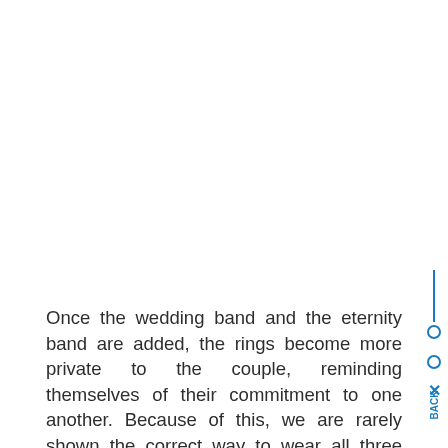Once the wedding band and the eternity band are added, the rings become more private to the couple, reminding themselves of their commitment to one another. Because of this, we are rarely shown the correct way to wear all three rings.
Well, it turns out there is a specific way you should be wearing your rings. Your wedding band should